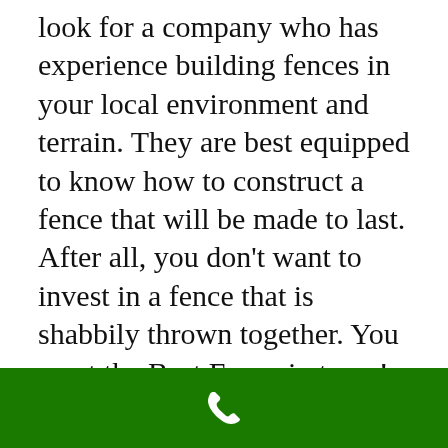look for a company who has experience building fences in your local environment and terrain. They are best equipped to know how to construct a fence that will be made to last. After all, you don't want to invest in a fence that is shabbily thrown together. You want the Best Fence in town!

That's why it is so important to make the right decision when selecting a fencing services (pick-it fence) company. The
[Figure (other): Green footer bar with white phone/call icon in the center]